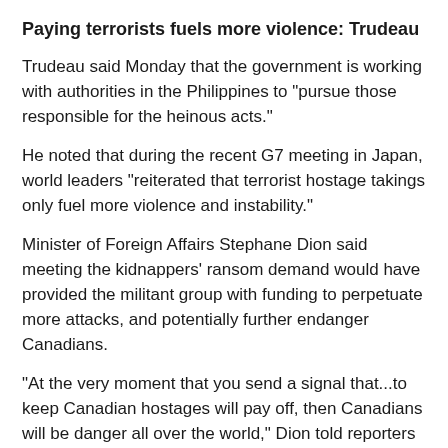Paying terrorists fuels more violence: Trudeau
Trudeau said Monday that the government is working with authorities in the Philippines to "pursue those responsible for the heinous acts."
He noted that during the recent G7 meeting in Japan, world leaders "reiterated that terrorist hostage takings only fuel more violence and instability."
Minister of Foreign Affairs Stephane Dion said meeting the kidnappers' ransom demand would have provided the militant group with funding to perpetuate more attacks, and potentially further endanger Canadians.
"At the very moment that you send a signal that...to keep Canadian hostages will pay off, then Canadians will be danger all over the world," Dion told reporters in Ottawa on Monday. "We should send the other signal – don't bother to take Canadian hostages, you will not make